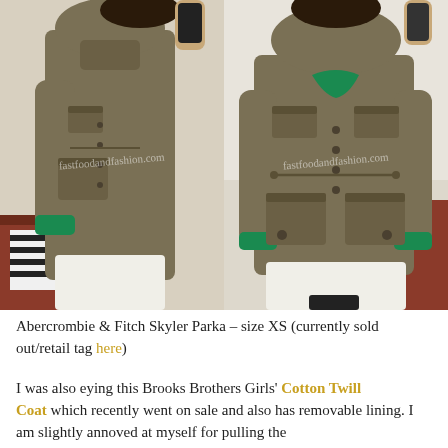[Figure (photo): Two side-by-side mirror selfie photos of a person wearing an Abercrombie & Fitch Skyler Parka in olive/khaki color over a green top with white pants. Left photo shows back/side view, right photo shows front view. Watermark reads 'fastfoodandfashion.com'.]
Abercrombie & Fitch Skyler Parka – size XS (currently sold out/retail tag here)
I was also eying this Brooks Brothers Girls' Cotton Twill Coat which recently went on sale and also has removable lining. I am slightly annoved at myself for pulling the